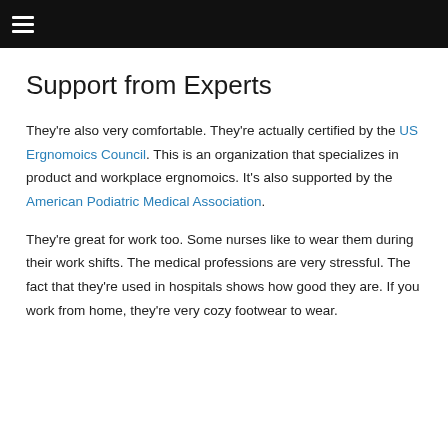☰
Support from Experts
They're also very comfortable. They're actually certified by the US Ergnomoics Council. This is an organization that specializes in product and workplace ergnomoics. It's also supported by the American Podiatric Medical Association.
They're great for work too. Some nurses like to wear them during their work shifts. The medical professions are very stressful. The fact that they're used in hospitals shows how good they are. If you work from home, they're very cozy footwear to wear.